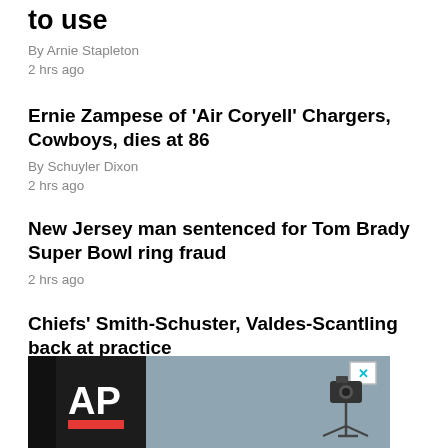to use
By Arnie Stapleton
2 hrs ago
Ernie Zampese of 'Air Coryell' Chargers, Cowboys, dies at 86
By Schuyler Dixon
2 hrs ago
New Jersey man sentenced for Tom Brady Super Bowl ring fraud
2 hrs ago
Chiefs' Smith-Schuster, Valdes-Scantling back at practice
2 hrs ago
[Figure (photo): AP news advertisement banner with AP logo on dark background and camera equipment visible]